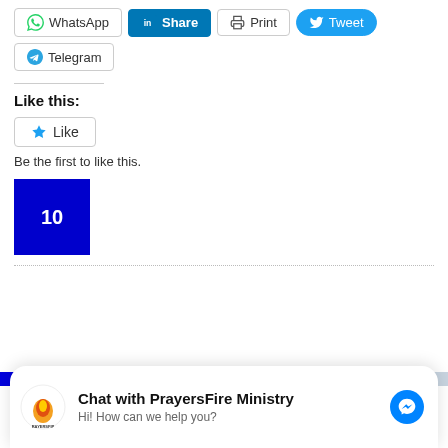[Figure (screenshot): Social share buttons: WhatsApp, Share (LinkedIn), Print, Tweet, Telegram]
Like this:
[Figure (screenshot): Like button with star icon]
Be the first to like this.
[Figure (other): Blue square box with number 10]
[Figure (screenshot): Progress bar partially filled in blue]
[Figure (screenshot): Chat widget: Chat with PrayersFire Ministry. Hi! How can we help you?]